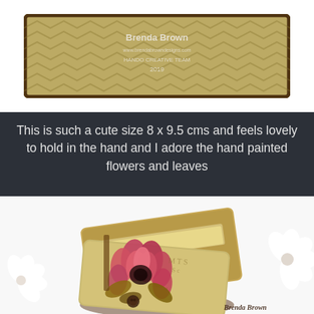[Figure (photo): Photo of a small decorative box/journal with a green chevron/geometric patterned cover and text reading 'Brenda Brown', website and 'HANDO CREATIVE TEAM 2019' watermark.]
This is such a cute size 8 x 9.5 cms and feels lovely to hold in the hand and I adore the hand painted flowers and leaves
[Figure (photo): Photo of a small open handmade journal/purse with decorative floral artwork featuring a large pink/red bloom on the cover, vintage-style patterned interior pages visible, white paper flowers in background, and 'Brenda Brown' watermark at bottom right.]